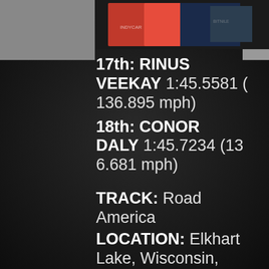[Figure (photo): Racing driver photo/card images at top of page]
17th: RINUS VEEKAY 1:45.5581 (136.895 mph)
18th: CONOR DALY 1:45.7234 (136.681 mph)
TRACK: Road America
LOCATION: Elkhart Lake, Wisconsin, USA
TRACK LAYOUT: 4-mile, 14-turn road circuit
RACE LENGTH: 55 laps | 220.55 miles